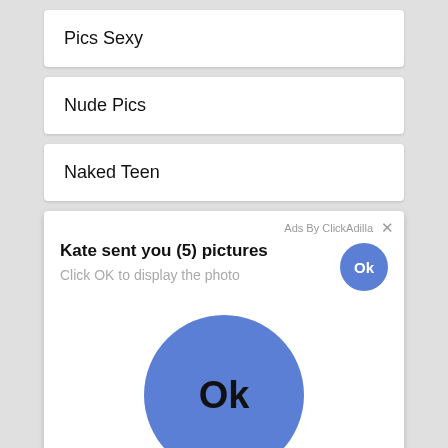Pics Sexy
Nude Pics
Naked Teen
[Figure (screenshot): Ad popup from ClickAdilla showing 'Kate sent you (5) pictures' with 'Click OK to display the photo' text, a small blue Ok button, and a large blue circle Ok button in the center of the ad card.]
Naked Girls